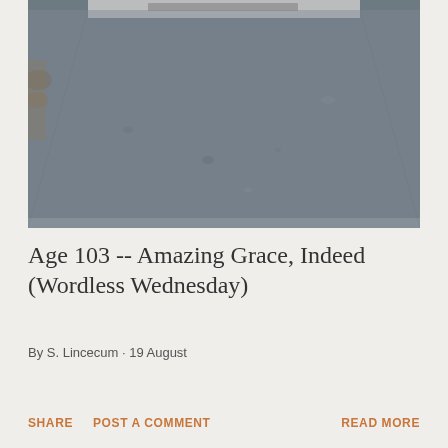[Figure (photo): A close-up photograph of a dark gray granite gravestone surface, viewed from a low angle. The stone has a smooth, speckled texture. A partially visible white marble or lighter stone inscription plate is visible at the top. Dry leaves and vegetation are visible at the left edge. The stone appears to be a flat grave marker photographed outdoors.]
Age 103 -- Amazing Grace, Indeed (Wordless Wednesday)
By S. Lincecum · 19 August
SHARE   POST A COMMENT   READ MORE